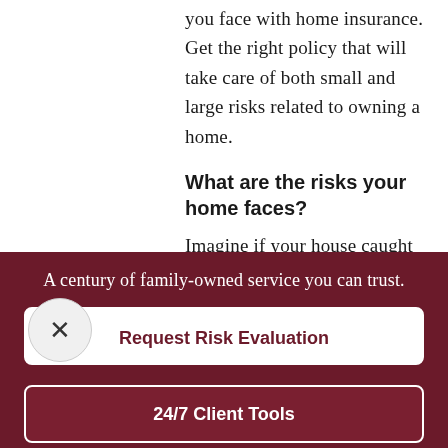you face with home insurance. Get the right policy that will take care of both small and large risks related to owning a home.
What are the risks your home faces?
Imagine if your house caught on fire. Not only would you lose your home, but you'd also be burdened financially and emotionally. Without adequate home insurance, you would be left
A century of family-owned service you can trust.
Request Risk Evaluation
24/7 Client Tools